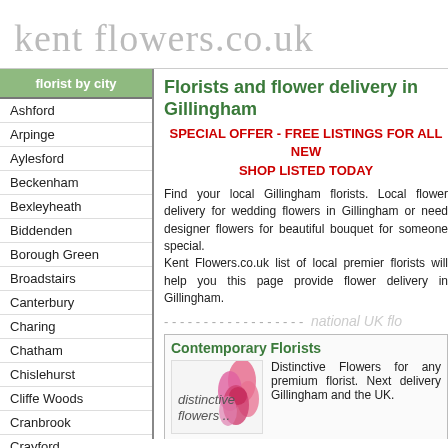kent flowers.co.uk
florist by city
Ashford
Arpinge
Aylesford
Beckenham
Bexleyheath
Biddenden
Borough Green
Broadstairs
Canterbury
Charing
Chatham
Chislehurst
Cliffe Woods
Cranbrook
Crayford
Dartford
Florists and flower delivery in Gillingham
SPECIAL OFFER - FREE LISTINGS FOR ALL NEW SHOP LISTED TODAY
Find your local Gillingham florists. Local flower delivery for wedding flowers in Gillingham or need designer flowers for beautiful bouquet for someone special. Kent Flowers.co.uk list of local premier florists will help you this page provide flower delivery in Gillingham.
- - - - - - - - - - - - - - - - - - -  national UK flo
Contemporary Florists
[Figure (photo): Distinctive flowers logo with pink flower image]
Distinctive Flowers for any premium florist. Next delivery Gillingham and the UK.
www:  Click here to order from Contemporary Florists
Arena Flowers
Fantastic Flowers, Personal flowers delivered througho